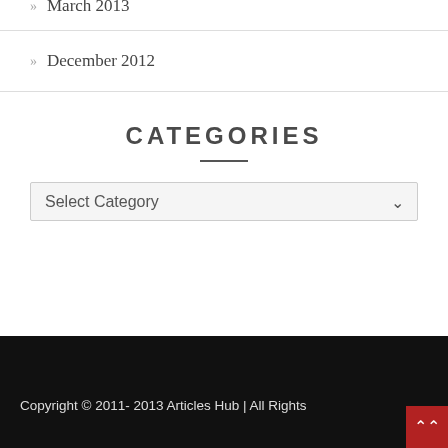March 2013
December 2012
CATEGORIES
Select Category
Copyright © 2011- 2013 Articles Hub | All Rights Reserved